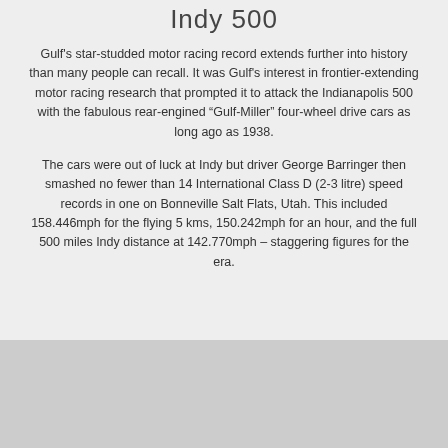Indy 500
Gulf's star-studded motor racing record extends further into history than many people can recall. It was Gulf's interest in frontier-extending motor racing research that prompted it to attack the Indianapolis 500 with the fabulous rear-engined “Gulf-Miller” four-wheel drive cars as long ago as 1938.
The cars were out of luck at Indy but driver George Barringer then smashed no fewer than 14 International Class D (2-3 litre) speed records in one on Bonneville Salt Flats, Utah. This included 158.446mph for the flying 5 kms, 150.242mph for an hour, and the full 500 miles Indy distance at 142.770mph – staggering figures for the era.